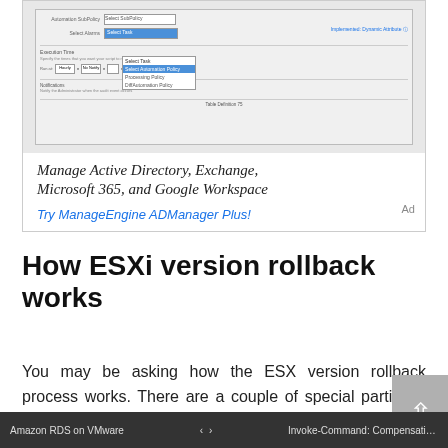[Figure (screenshot): Screenshot of a web UI form with dropdowns showing automation policy options, and a ManageEngine ADManager Plus advertisement]
Manage Active Directory, Exchange, Microsoft 365, and Google Workspace
Try ManageEngine ADManager Plus!
How ESXi version rollback works
You may be asking how the ESX version rollback process works. There are a couple of special partitions to make note of with your vSphere ESXi installation. These are the /bootbank and /altbootbank partitions. When you install the ESXi hypervisor, the hypervisor image is installed in the /bootbank partition
Amazon RDS on VMware   <   >   Invoke-Command: Compensating f...